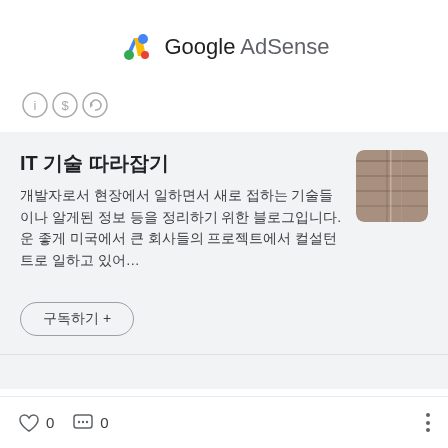[Figure (logo): Google AdSense logo with colorful G-shaped icon and text 'Google AdSense']
[Figure (other): Three Creative Commons license icons in a row: by, dollar, and share-alike circles]
IT 기술 따라잡기
개발자로서 현장에서 일하면서 새로 접하는 기술들이나 알게된 정보 등을 정리하기 위한 블로그입니다. 운 좋게 미국에서 큰 회사들의 프로젝트에서 컬설턴트로 일하고 있어…
[Figure (photo): Small thumbnail image showing a wooden surface or floor]
구독하기 +
♡ 0   💬 0